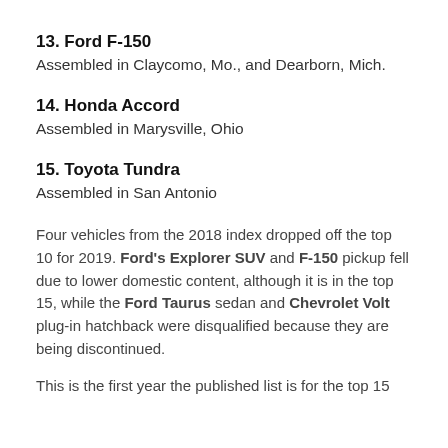13. Ford F-150
Assembled in Claycomo, Mo., and Dearborn, Mich.
14. Honda Accord
Assembled in Marysville, Ohio
15. Toyota Tundra
Assembled in San Antonio
Four vehicles from the 2018 index dropped off the top 10 for 2019. Ford's Explorer SUV and F-150 pickup fell due to lower domestic content, although it is in the top 15, while the Ford Taurus sedan and Chevrolet Volt plug-in hatchback were disqualified because they are being discontinued.
This is the first year the published list is for the top 15